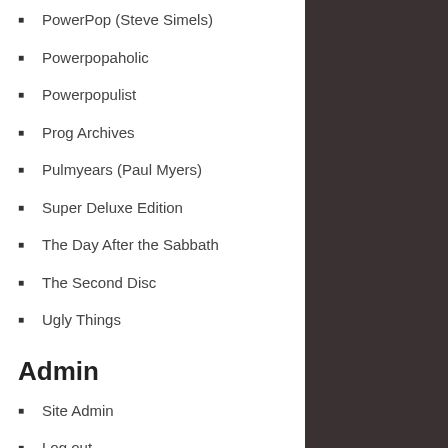PowerPop (Steve Simels)
Powerpopaholic
Powerpopulist
Prog Archives
Pulmyears (Paul Myers)
Super Deluxe Edition
The Day After the Sabbath
The Second Disc
Ugly Things
Admin
Site Admin
Log out
PLEASE NOTE: I welcome comments; I really do. But the site was getting hammered by sleazy comment-spammers, so I've had to